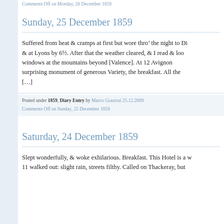Comments Off on Monday, 26 December 1859
Sunday, 25 December 1859
Suffered from heat & cramps at first but wore thro' the night to Di & at Lyons by 6½. After that the weather cleared, & I read & loo windows at the mountains beyond [Valence]. At 12 Avignon surprising monument of generous Variety, the breakfast. All the [...]
Posted under 1859, Diary Entry by Marco Graziosi 25.12.2009
Comments Off on Sunday, 25 December 1859
Saturday, 24 December 1859
Slept wonderfully, & woke exhilarious. Breakfast. This Hotel is a w 11 walked out: slight rain, streets filthy. Called on Thackeray, but